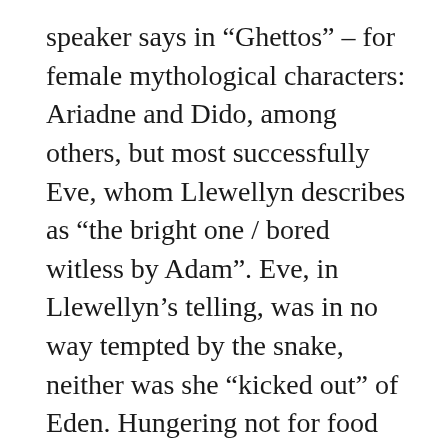speaker says in “Ghettos” – for female mythological characters: Ariadne and Dido, among others, but most successfully Eve, whom Llewellyn describes as “the bright one / bored witless by Adam”. Eve, in Llewellyn’s telling, was in no way tempted by the snake, neither was she “kicked out” of Eden. Hungering not for food but for knowledge, Eve had the simple gumption to walk out.